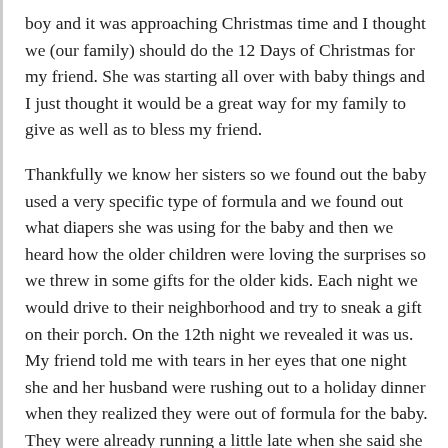boy and it was approaching Christmas time and I thought we (our family) should do the 12 Days of Christmas for my friend. She was starting all over with baby things and I just thought it would be a great way for my family to give as well as to bless my friend.
Thankfully we know her sisters so we found out the baby used a very specific type of formula and we found out what diapers she was using for the baby and then we heard how the older children were loving the surprises so we threw in some gifts for the older kids. Each night we would drive to their neighborhood and try to sneak a gift on their porch. On the 12th night we revealed it was us. My friend told me with tears in her eyes that one night she and her husband were rushing out to a holiday dinner when they realized they were out of formula for the baby. They were already running a little late when she said she had to run to the store to get